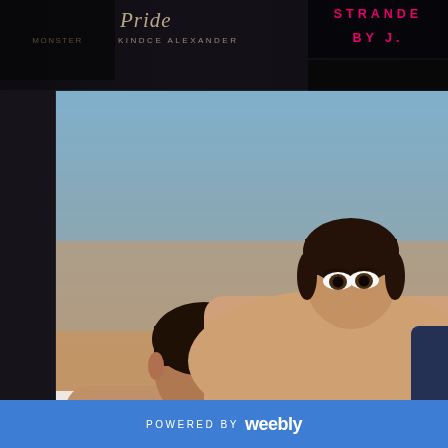Pride
KINDCE ALEXANDER
STRANDED
BY J.
[Figure (photo): Two shirtless young men in an intimate pose, one resting on top of the other, appearing to be a book cover or author photo for a romance novel]
Born and raised in S... working in a bakery, afte... reading and writing. W... however it wasn't until re... am...
BLOG
ABOUT
CONTACT
[Figure (logo): Goodreads 'g' icon in a dark circle]
[Figure (logo): Facebook 'f' icon in a dark circle]
[Figure (photo): Bottom strip photo showing what appears to be a building or street scene]
POWERED BY weebly